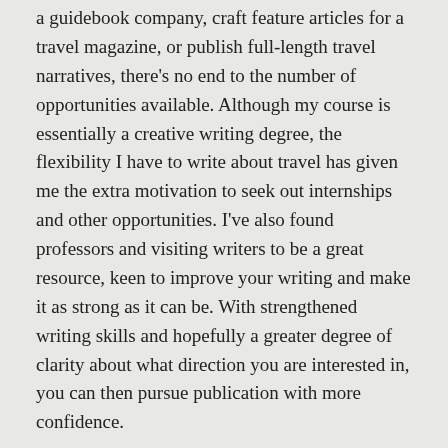a guidebook company, craft feature articles for a travel magazine, or publish full-length travel narratives, there's no end to the number of opportunities available. Although my course is essentially a creative writing degree, the flexibility I have to write about travel has given me the extra motivation to seek out internships and other opportunities. I've also found professors and visiting writers to be a great resource, keen to improve your writing and make it as strong as it can be. With strengthened writing skills and hopefully a greater degree of clarity about what direction you are interested in, you can then pursue publication with more confidence.
Some books to get you started:
1. Don George, Lonely Planet's Guide to Travel Writing